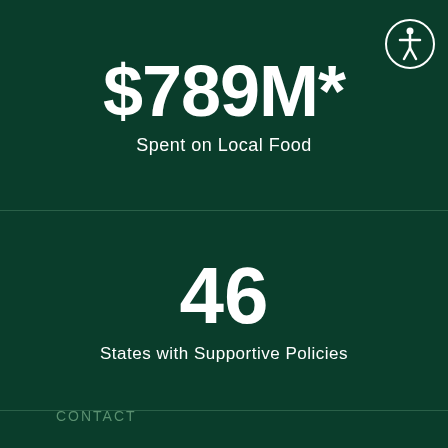$789M*
Spent on Local Food
46
States with Supportive Policies
20,000+
NFSN Members
CONTACT